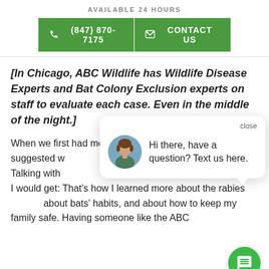AVAILABLE 24 HOURS
(847) 870-7175   CONTACT US
[In Chicago, ABC Wildlife has Wildlife Disease Experts and Bat Colony Exclusion experts on staff to evaluate each case. Even in the middle of the night.]
When we first had moved in, the home inspector suggested w... of birds, and... Talking with... information than I ever thought I would get: That's how I learned more about the rabies... about bats' habits, and about how to keep my family safe. Having someone like the ABC
[Figure (screenshot): Chat popup widget with avatar photo and message 'Hi there, have a question? Text us here.' with close button and green chat bubble button.]